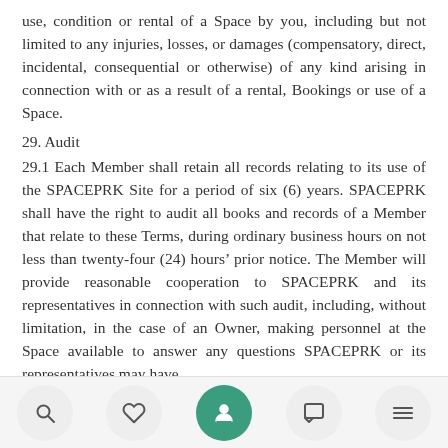use, condition or rental of a Space by you, including but not limited to any injuries, losses, or damages (compensatory, direct, incidental, consequential or otherwise) of any kind arising in connection with or as a result of a rental, Bookings or use of a Space.
29. Audit
29.1 Each Member shall retain all records relating to its use of the SPACEPRK Site for a period of six (6) years. SPACEPRK shall have the right to audit all books and records of a Member that relate to these Terms, during ordinary business hours on not less than twenty-four (24) hours’ prior notice. The Member will provide reasonable cooperation to SPACEPRK and its representatives in connection with such audit, including, without limitation, in the case of an Owner, making personnel at the Space available to answer any questions SPACEPRK or its representatives may have.
30. Entire Agreement
30.1 These Terms of Service…